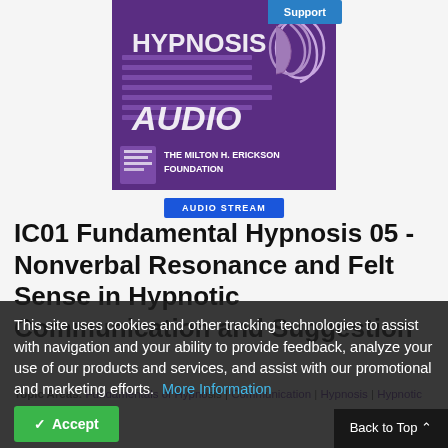[Figure (logo): Hypnosis Audio logo with 'THE MILTON H. ERICKSON FOUNDATION' branding. Purple background with stylized face profiles and horizontal lines. 'HYPNOSIS AUDIO' text in white. A 'Support' badge in blue at top right.]
AUDIO STREAM
IC01 Fundamental Hypnosis 05 - Nonverbal Resonance and Felt Sense in Hypnotic Communication and Suggestion
This site uses cookies and other tracking technologies to assist with navigation and your ability to provide feedback, analyze your use of our products and services, and assist with our promotional and marketing efforts.  More Information
Topic Areas: Fundamentals of Hypnosis | Communication | Hypnosis | Hypnotic Induction | Utilization